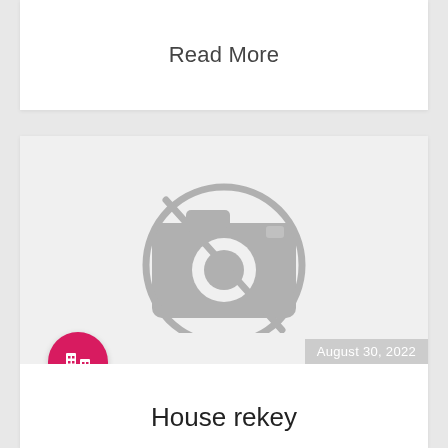Read More
[Figure (illustration): Placeholder image icon: a camera icon with a circle-slash (no image available) symbol in gray, on a light gray background. Bottom left has a pink/red circle with a white building icon. Bottom right has a date overlay reading 'August 30, 2022'.]
House rekey
We pride in good locks and professional locksmiths, we are old